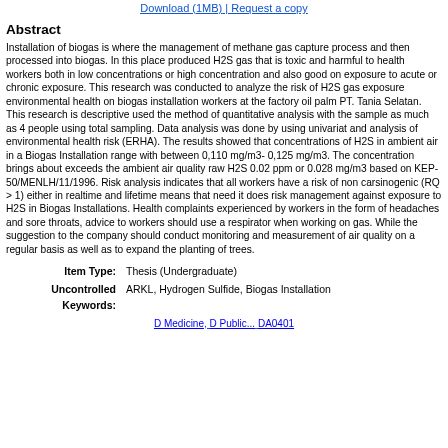Download (1MB) | Request a copy
Abstract
Installation of biogas is where the management of methane gas capture process and then processed into biogas. In this place produced H2S gas that is toxic and harmful to health workers both in low concentrations or high concentration and also good on exposure to acute or chronic exposure. This research was conducted to analyze the risk of H2S gas exposure environmental health on biogas installation workers at the factory oil palm PT. Tania Selatan. This research is descriptive used the method of quantitative analysis with the sample as much as 4 people using total sampling. Data analysis was done by using univariat and analysis of environmental health risk (ERHA). The results showed that concentrations of H2S in ambient air in a Biogas Installation range with between 0,110 mg/m3- 0,125 mg/m3. The concentration brings about exceeds the ambient air quality raw H2S 0.02 ppm or 0.028 mg/m3 based on KEP- 50/MENLH/11/1996. Risk analysis indicates that all workers have a risk of non carsinogenic (RQ > 1) either in realtime and lifetime means that need it does risk management against exposure to H2S in Biogas Installations. Health complaints experienced by workers in the form of headaches and sore throats, advice to workers should use a respirator when working on gas. While the suggestion to the company should conduct monitoring and measurement of air quality on a regular basis as well as to expand the planting of trees.
| Field | Value |
| --- | --- |
| Item Type: | Thesis (Undergraduate) |
| Uncontrolled Keywords: | ARKL, Hydrogen Sulfide, Biogas Installation |
D Medicine, D Public...